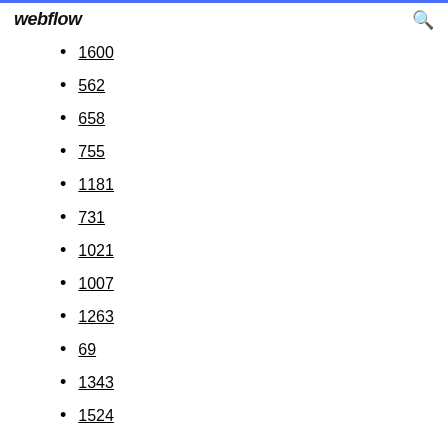webflow
1600
562
658
755
1181
731
1021
1007
1263
69
1343
1524